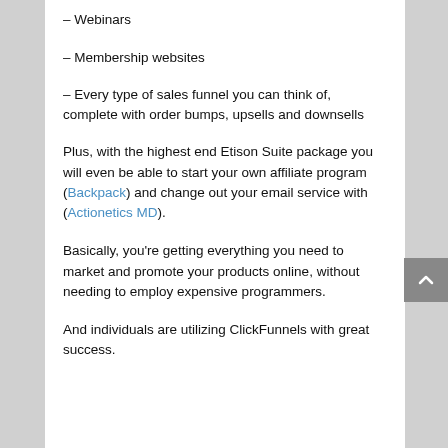– Webinars
– Membership websites
– Every type of sales funnel you can think of, complete with order bumps, upsells and downsells
Plus, with the highest end Etison Suite package you will even be able to start your own affiliate program (Backpack) and change out your email service with (Actionetics MD).
Basically, you're getting everything you need to market and promote your products online, without needing to employ expensive programmers.
And individuals are utilizing ClickFunnels with great success.